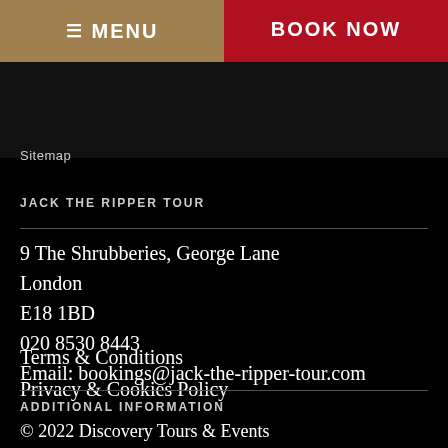MENU  BOOK NOW
Sitemap
JACK THE RIPPER TOUR
9 The Shrubberies, George Lane
London
E18 1BD
020 8530 8443
Email: bookings@jack-the-ripper-tour.com
Terms & Conditions
Privacy & Cookies Policy
ADDITIONAL INFORMATION
© 2022 Discovery Tours & Events